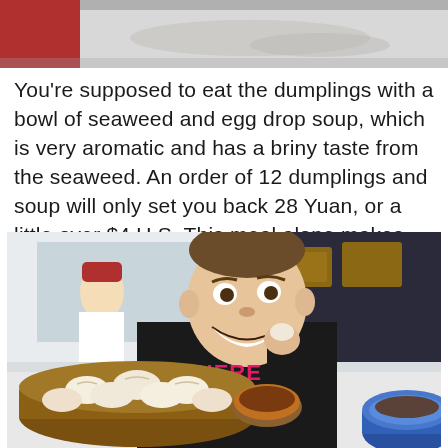[Figure (photo): Top portion of a photo showing what appears to be dough or dumpling wrappers being prepared on a surface, with a red garment visible at the top left.]
You're supposed to eat the dumplings with a bowl of seaweed and egg drop soup, which is very aromatic and has a briny taste from the seaweed. An order of 12 dumplings and soup will only set you back 28 Yuan, or a little over $4 U.S. This meal alone makes visiting Huanghe Road one of the top things to see and eat in Shanghai!
[Figure (photo): A man in a black hoodie with pink text reading 'WHERE HAVE YOU' is grinning widely and holding a dumpling above a bamboo steamer basket filled with soup dumplings (xiaolongbao). In the background is a restaurant interior with a worker in a red hat and stacked bamboo steamers.]